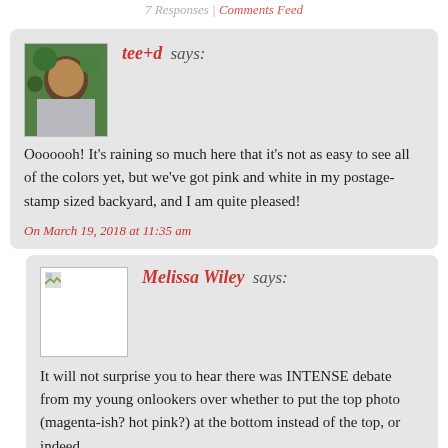7 Responses | Comments Feed
tee+d says:
Ooooooh! It's raining so much here that it's not as easy to see all of the colors yet, but we've got pink and white in my postage-stamp sized backyard, and I am quite pleased!
On March 19, 2018 at 11:35 am
Melissa Wiley says:
It will not surprise you to hear there was INTENSE debate from my young onlookers over whether to put the top photo (magenta-ish? hot pink?) at the bottom instead of the top, or indeed